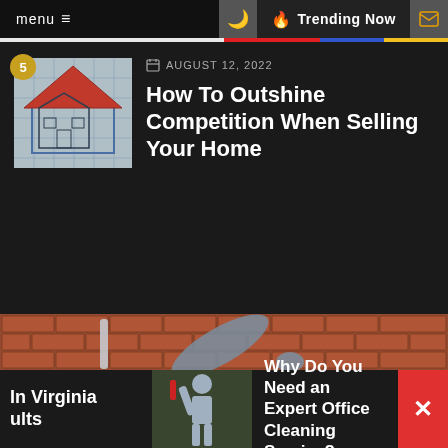menu  Trending Now
AUGUST 12, 2022
How To Outshine Competition When Selling Your Home
[Figure (photo): Person in grey jacket bending over near brick wall, cleaning with a mop or broom]
5%
In Virginia ults
[Figure (photo): Person cleaning with a red tool near a wall]
Why Do You Need an Expert Office Cleaning Service?